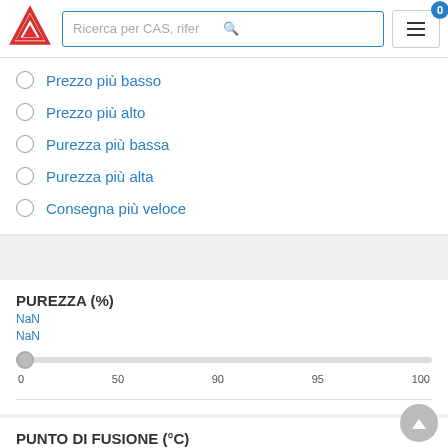[Figure (screenshot): Website header with red triangle logo, search box with placeholder 'Ricerca per CAS, rifer', search icon, hamburger menu button, and cart badge showing 0]
Prezzo più basso
Prezzo più alto
Purezza più bassa
Purezza più alta
Consegna più veloce
PUREZZA (%)
NaN
NaN
[Figure (other): Horizontal slider track with thumb at far left, tick marks at 0, 50, 90, 95, 100]
PUNTO DI FUSIONE (°C)